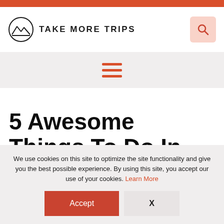TAKE MORE TRIPS
5 Awesome Things To Do In Las Vegas
We use cookies on this site to optimize the site functionality and give you the best possible experience. By using this site, you accept our use of your cookies. Learn More